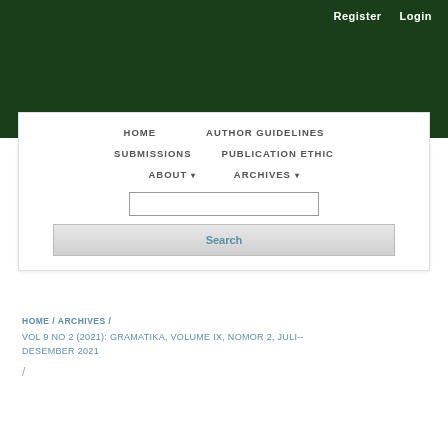Register  Login
[Figure (screenshot): Dark green website header bar with Register and Login navigation links at top right]
HOME   AUTHOR GUIDELINES   SUBMISSIONS   PUBLICATION ETHIC   ABOUT ▾   ARCHIVES ▾
Search
HOME / ARCHIVES / VOL 9 NO 2 (2021): GRAMATIKA, VOLUME IX, NOMOR 2, JULI--DESEMBER 2021 /